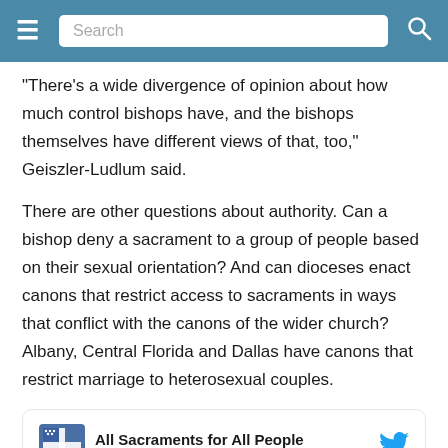Search
“There’s a wide divergence of opinion about how much control bishops have, and the bishops themselves have different views of that, too,” Geiszler-Ludlum said.
There are other questions about authority. Can a bishop deny a sacrament to a group of people based on their sexual orientation? And can dioceses enact canons that restrict access to sacraments in ways that conflict with the canons of the wider church? Albany, Central Florida and Dallas have canons that restrict marriage to heterosexual couples.
[Figure (screenshot): Embedded tweet from @asaptn (All Sacraments for All People) with Episcopal Church logo featuring rainbow colors. Tweet begins: 'Hopeful that we can find a middle way where all may, but none must. Radical']